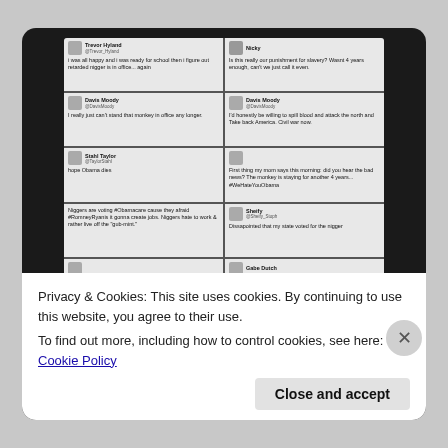[Figure (screenshot): A collage of racist Twitter screenshots showing hate speech directed at President Obama following a presidential election. The tweets contain racial slurs and violent rhetoric. The image is displayed within a dark-bordered browser-like frame.]
Privacy & Cookies: This site uses cookies. By continuing to use this website, you agree to their use.
To find out more, including how to control cookies, see here: Cookie Policy
Close and accept